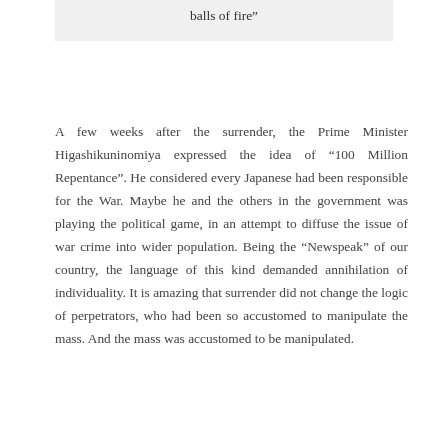balls of fire”
A few weeks after the surrender, the Prime Minister Higashikuninomiya expressed the idea of “100 Million Repentance”. He considered every Japanese had been responsible for the War. Maybe he and the others in the government was playing the political game, in an attempt to diffuse the issue of war crime into wider population. Being the “Newspeak” of our country, the language of this kind demanded annihilation of individuality. It is amazing that surrender did not change the logic of perpetrators, who had been so accustomed to manipulate the mass. And the mass was accustomed to be manipulated.